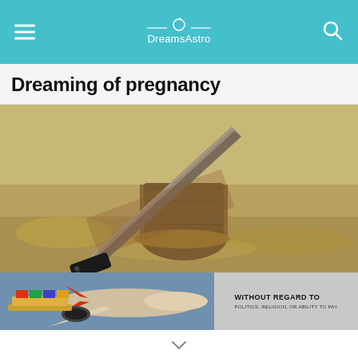DreamsAstro
Dreaming of pregnancy
[Figure (photo): A rusty machete leaning against a weathered wooden stump in a dry grassy field]
[Figure (photo): Advertisement banner showing an airplane being loaded with cargo, with text: WITHOUT REGARD TO POLITICS, RELIGION, OR ABILITY TO PAY]